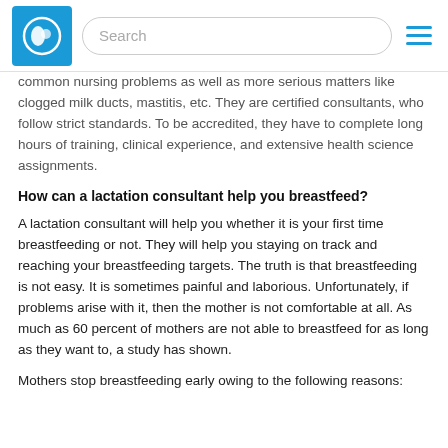Search
common nursing problems as well as more serious matters like clogged milk ducts, mastitis, etc. They are certified consultants, who follow strict standards. To be accredited, they have to complete long hours of training, clinical experience, and extensive health science assignments.
How can a lactation consultant help you breastfeed?
A lactation consultant will help you whether it is your first time breastfeeding or not. They will help you staying on track and reaching your breastfeeding targets. The truth is that breastfeeding is not easy. It is sometimes painful and laborious. Unfortunately, if problems arise with it, then the mother is not comfortable at all. As much as 60 percent of mothers are not able to breastfeed for as long as they want to, a study has shown.
Mothers stop breastfeeding early owing to the following reasons: